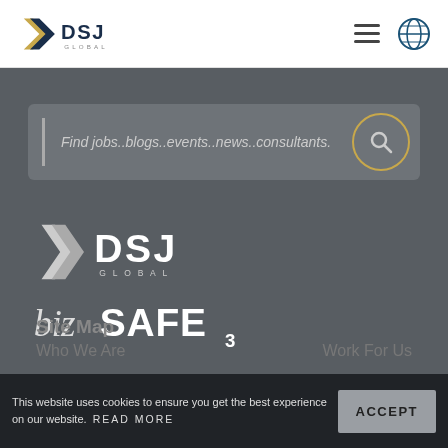DSJ Global navigation bar with logo, hamburger menu, and globe icon
[Figure (other): Search bar with placeholder text: Find jobs..blogs..events..news..consultants. and a gold-circle search button]
[Figure (logo): DSJ Global white logo]
[Figure (logo): bizSAFE 3 logo]
Site Map
Who We Are
Work For Us
This website uses cookies to ensure you get the best experience on our website. READ MORE
ACCEPT